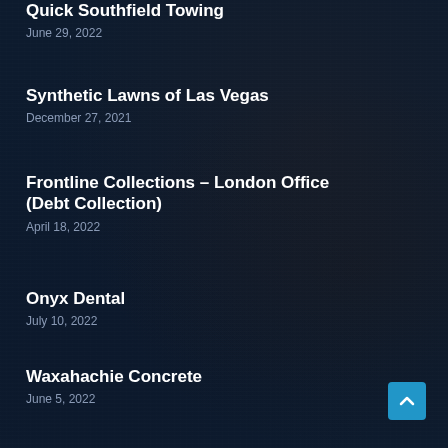Quick Southfield Towing
June 29, 2022
Synthetic Lawns of Las Vegas
December 27, 2021
Frontline Collections – London Office (Debt Collection)
April 18, 2022
Onyx Dental
July 10, 2022
Waxahachie Concrete
June 5, 2022